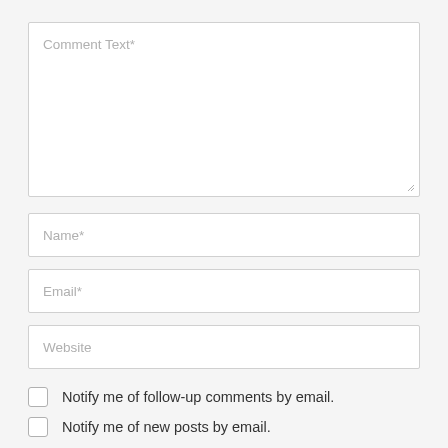[Figure (screenshot): Web comment form with textarea labeled 'Comment Text*', input fields for 'Name*', 'Email*', 'Website', and two checkboxes with labels 'Notify me of follow-up comments by email.' and 'Notify me of new posts by email.']